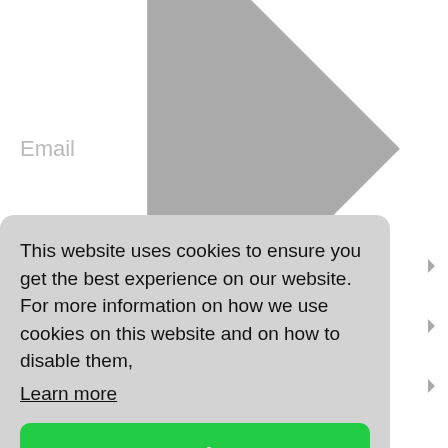AI
BEC
BIMI
Coronavirus
This website uses cookies to ensure you get the best experience on our website. For more information on how we use cookies on this website and on how to disable them,
Learn more
Got it!
Email